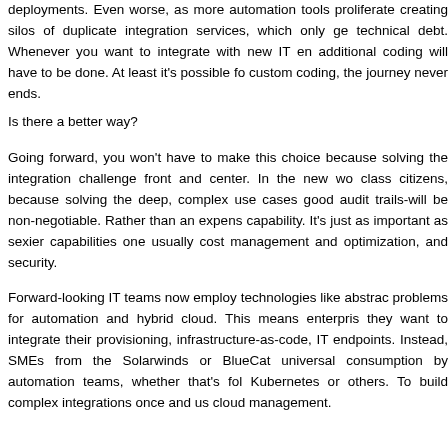deployments. Even worse, as more automation tools proliferate creating silos of duplicate integration services, which only ge technical debt. Whenever you want to integrate with new IT en additional coding will have to be done. At least it's possible fo custom coding, the journey never ends.
Is there a better way?
Going forward, you won't have to make this choice because solving the integration challenge front and center. In the new wo class citizens, because solving the deep, complex use cases good audit trails-will be non-negotiable. Rather than an expens capability. It's just as important as sexier capabilities one usually cost management and optimization, and security.
Forward-looking IT teams now employ technologies like abstrac problems for automation and hybrid cloud. This means enterpris they want to integrate their provisioning, infrastructure-as-code, IT endpoints. Instead, SMEs from the Solarwinds or BlueCat universal consumption by automation teams, whether that's fol Kubernetes or others. To build complex integrations once and us cloud management.